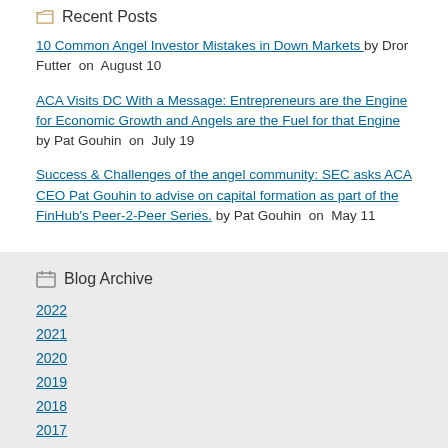Recent Posts
10 Common Angel Investor Mistakes in Down Markets by Dror Futter on August 10
ACA Visits DC With a Message: Entrepreneurs are the Engine for Economic Growth and Angels are the Fuel for that Engine by Pat Gouhin on July 19
Success & Challenges of the angel community: SEC asks ACA CEO Pat Gouhin to advise on capital formation as part of the FinHub's Peer-2-Peer Series. by Pat Gouhin on May 11
Blog Archive
2022
2021
2020
2019
2018
2017